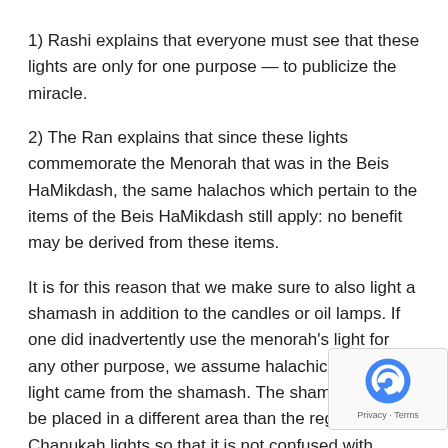1) Rashi explains that everyone must see that these lights are only for one purpose — to publicize the miracle.
2) The Ran explains that since these lights commemorate the Menorah that was in the Beis HaMikdash, the same halachos which pertain to the items of the Beis HaMikdash still apply: no benefit may be derived from these items.
It is for this reason that we make sure to also light a shamash in addition to the candles or oil lamps. If one did inadvertently use the menorah's light for any other purpose, we assume halachically that the light came from the shamash. The shamash should be placed in a different area than the regular Chanukah lights so that it is not confused with Chanukah lights themselves.